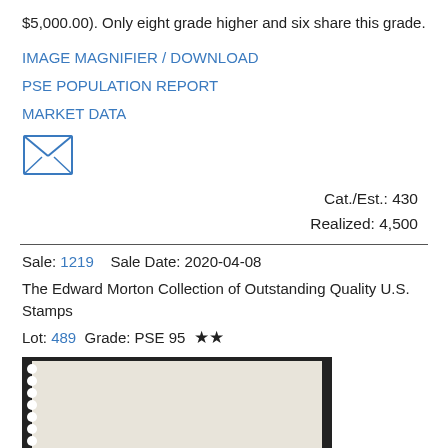$5,000.00). Only eight grade higher and six share this grade.
IMAGE MAGNIFIER / DOWNLOAD
PSE POPULATION REPORT
MARKET DATA
[Figure (illustration): Envelope/mail icon drawn with lines forming an envelope shape]
Cat./Est.: 430
Realized: 4,500
Sale: 1219    Sale Date: 2020-04-08
The Edward Morton Collection of Outstanding Quality U.S. Stamps
Lot: 489   Grade: PSE 95  ★★
[Figure (photo): Stamp image showing back of a postage stamp with perforated edges on a light cream/beige background, bordered by a black frame]